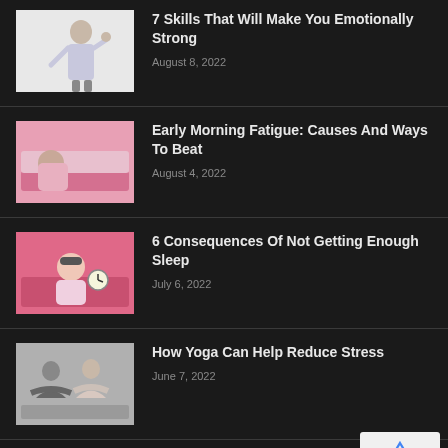7 Skills That Will Make You Emotionally Strong
August 8, 2022
Early Morning Fatigue: Causes And Ways To Beat
August 4, 2022
6 Consequences Of Not Getting Enough Sleep
July 6, 2022
How Yoga Can Help Reduce Stress
June 7, 2022
Benefits Of Walking For Good Health